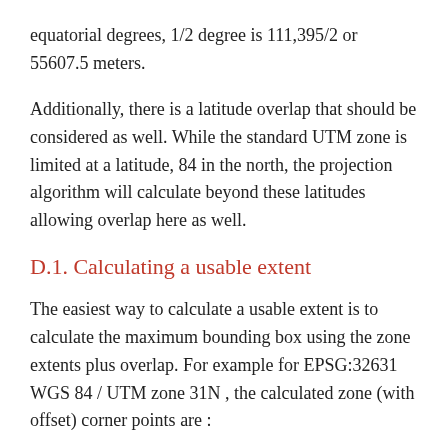equatorial degrees, 1/2 degree is 111,395/2 or 55607.5 meters.
Additionally, there is a latitude overlap that should be considered as well. While the standard UTM zone is limited at a latitude, 84 in the north, the projection algorithm will calculate beyond these latitudes allowing overlap here as well.
D.1. Calculating a usable extent
The easiest way to calculate a usable extent is to calculate the maximum bounding box using the zone extents plus overlap. For example for EPSG:32631 WGS 84 / UTM zone 31N , the calculated zone (with offset) corner points are :
-0.5, -0.5 ⇒ 110308.33, -55369.00